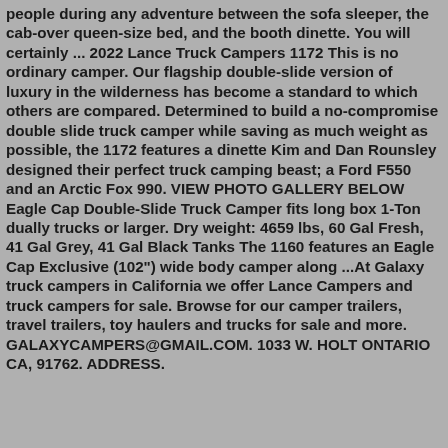people during any adventure between the sofa sleeper, the cab-over queen-size bed, and the booth dinette. You will certainly ... 2022 Lance Truck Campers 1172 This is no ordinary camper. Our flagship double-slide version of luxury in the wilderness has become a standard to which others are compared. Determined to build a no-compromise double slide truck camper while saving as much weight as possible, the 1172 features a dinette Kim and Dan Rounsley designed their perfect truck camping beast; a Ford F550 and an Arctic Fox 990. VIEW PHOTO GALLERY BELOW Eagle Cap Double-Slide Truck Camper fits long box 1-Ton dually trucks or larger. Dry weight: 4659 lbs, 60 Gal Fresh, 41 Gal Grey, 41 Gal Black Tanks The 1160 features an Eagle Cap Exclusive (102") wide body camper along ...At Galaxy truck campers in California we offer Lance Campers and truck campers for sale. Browse for our camper trailers, travel trailers, toy haulers and trucks for sale and more. GALAXYCAMPERS@GMAIL.COM. 1033 W. HOLT ONTARIO CA, 91762. ADDRESS.